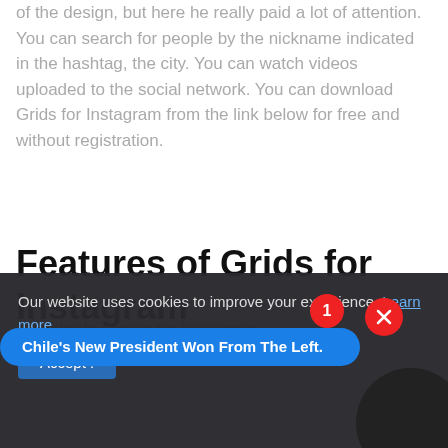of the design, but here he really paid a lot of attention. You can search for people by the nickname indicated in the hashtag, the city. You can watch videos uploaded to the social network. You can download Grids for Instagram from the link below for free and without registration.
Features of Grids for Instagram
Better browsing for Instagram
Our website uses cookies to improve your experience. Learn more
Chile's New President Won From The Left.
Accept !